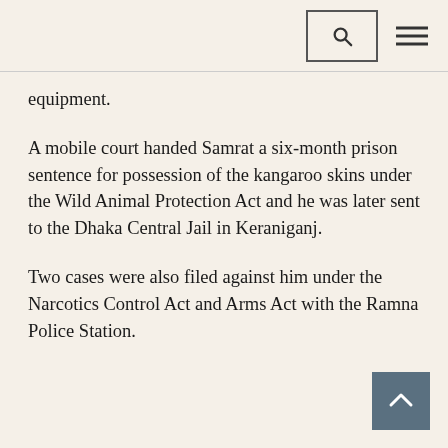[Search icon] [Menu icon]
equipment.
A mobile court handed Samrat a six-month prison sentence for possession of the kangaroo skins under the Wild Animal Protection Act and he was later sent to the Dhaka Central Jail in Keraniganj.
Two cases were also filed against him under the Narcotics Control Act and Arms Act with the Ramna Police Station.